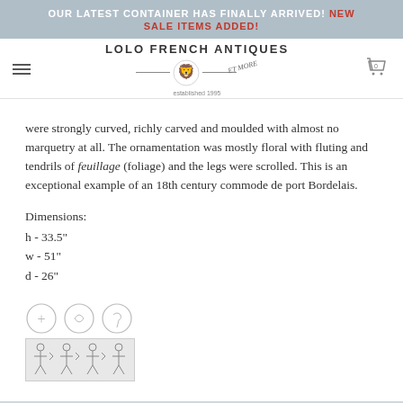OUR LATEST CONTAINER HAS FINALLY ARRIVED! NEW SALE ITEMS ADDED!
[Figure (logo): Lolo French Antiques et More logo with decorative emblem, lion crest, horizontal lines and 'established 1995' text]
were strongly curved, richly carved and moulded with almost no marquetry at all. The ornamentation was mostly floral with fluting and tendrils of feuillage (foliage) and the legs were scrolled. This is an exceptional example of an 18th century commode de port Bordelais.
Dimensions:
h - 33.5"
w - 51"
d - 26"
[Figure (illustration): Social sharing icons: Facebook, Instagram/social, Pinterest or similar, followed by a row of figurine/doll sharing icons]